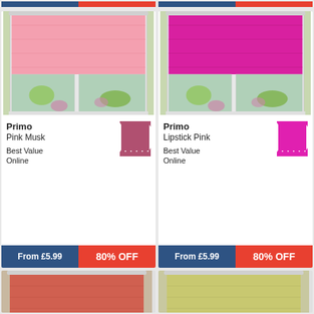[Figure (photo): Primo Pink Musk roller blind on a window with garden view]
Primo
Pink Musk
Best Value Online
From £5.99  80% OFF
[Figure (photo): Primo Lipstick Pink roller blind on a window with garden view]
Primo
Lipstick Pink
Best Value Online
From £5.99  80% OFF
[Figure (photo): Primo coral/red roller blind, partially visible at bottom]
[Figure (photo): Primo olive/sage green roller blind, partially visible at bottom]